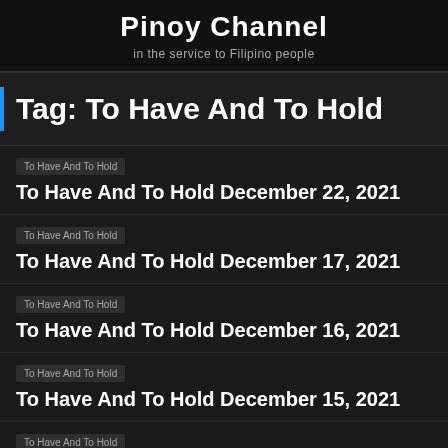Pinoy Channel
in the service to Filipino people
Tag: To Have And To Hold
To Have And To Hold
To Have And To Hold December 22, 2021
To Have And To Hold
To Have And To Hold December 17, 2021
To Have And To Hold
To Have And To Hold December 16, 2021
To Have And To Hold
To Have And To Hold December 15, 2021
To Have And To Hold